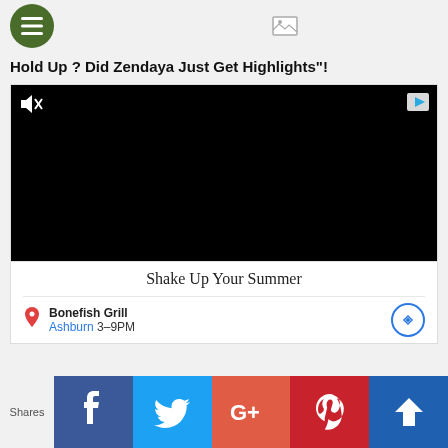[menu button] [broken image]
Hold Up ? Did Zendaya Just Get Highlights"!
[Figure (screenshot): Black video player with mute icon in top-left and ad badge in top-right, followed by an advertisement for Bonefish Grill 'Shake Up Your Summer' with location 'Ashburn 3-9PM']
Shares
[Figure (infographic): Social share bar with Facebook, Twitter, Google+, Pinterest, and a fifth share option buttons]